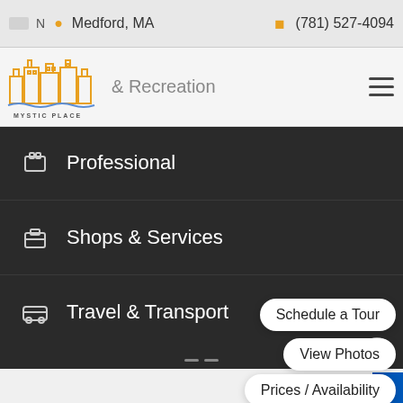Medford, MA  (781) 527-4094
[Figure (logo): Mystic Place logo with stylized city skyline in orange/gold lines]
& Recreation
Professional
Shops & Services
Travel & Transport
Schedule a Tour
View Photos
Prices / Availability
3610 Mystic Valley Pkwy, Med...
GET DIRECTIONS
3D
WHAT'S HAPPENING AT